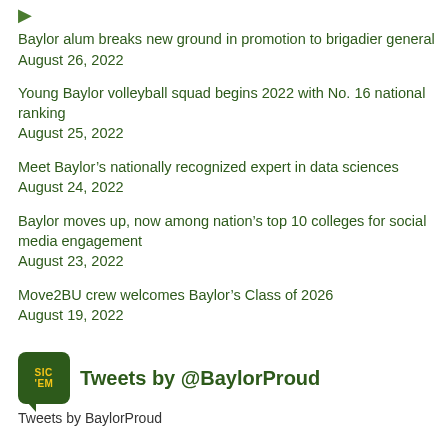Baylor alum breaks new ground in promotion to brigadier general
August 26, 2022
Young Baylor volleyball squad begins 2022 with No. 16 national ranking
August 25, 2022
Meet Baylor’s nationally recognized expert in data sciences
August 24, 2022
Baylor moves up, now among nation’s top 10 colleges for social media engagement
August 23, 2022
Move2BU crew welcomes Baylor’s Class of 2026
August 19, 2022
Tweets by @BaylorProud
Tweets by BaylorProud